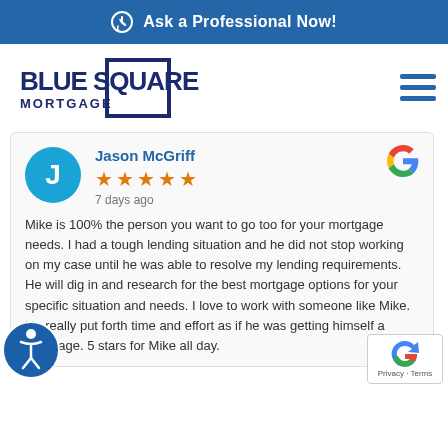Ask a Professional Now!
[Figure (logo): Blue Square Mortgage logo with square bracket design and hamburger menu icon]
[Figure (screenshot): Google review card from Jason McGriff, 5 stars, 7 days ago, text: Mike is 100% the person you want to go too for your mortgage needs. I had a tough lending situation and he did not stop working on my case until he was able to resolve my lending requirements. He will dig in and research for the best mortgage options for your specific situation and needs. I love to work with someone like Mike. He really put forth time and effort as if he was getting himself a mortgage. 5 stars for Mike all day.]